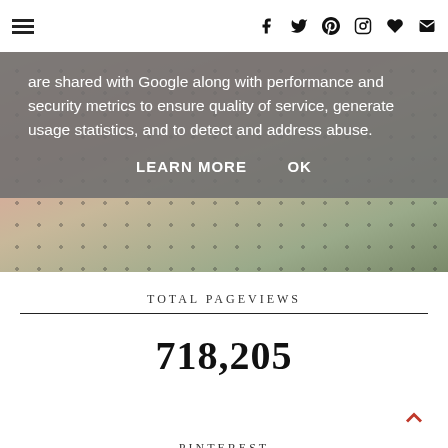Navigation menu and social icons (Facebook, Twitter, Pinterest, Instagram, Favorites, Email)
are shared with Google along with performance and security metrics to ensure quality of service, generate usage statistics, and to detect and address abuse. LEARN MORE OK
[Figure (photo): Woman wearing a pink polka dot dress outdoors with greenery in the background]
TOTAL PAGEVIEWS
718,205
PINTEREST